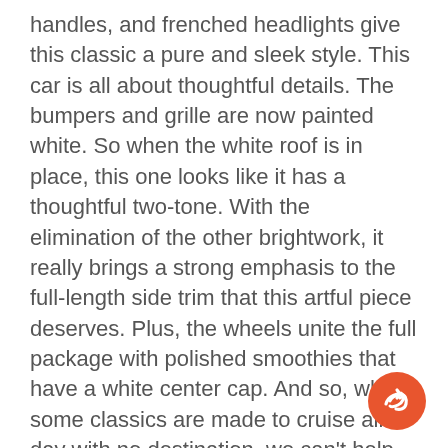handles, and frenched headlights give this classic a pure and sleek style. This car is all about thoughtful details. The bumpers and grille are now painted white. So when the white roof is in place, this one looks like it has a thoughtful two-tone. With the elimination of the other brightwork, it really brings a strong emphasis to the full-length side trim that this artful piece deserves. Plus, the wheels unite the full package with polished smoothies that have a white center cap. And so, while some classics are made to cruise all day with no destination, we can't help but think you'll be taking this one out most weekends to find a car show.
A car like this was made for top-down enjoyment. So the interior still gives you plenty of the bright white to coordinate with the exterior, and now it's also joined by a tasteful gray. And the car's thoughtful style is shown once again in the details where the custom upholstery, door panels, and